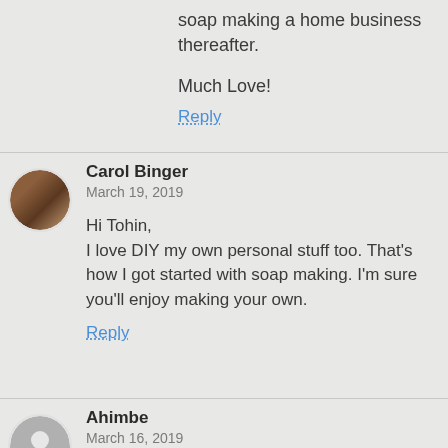soap making a home business thereafter.
Much Love!
Reply
Carol Binger
March 19, 2019
Hi Tohin,
I love DIY my own personal stuff too. That's how I got started with soap making. I'm sure you'll enjoy making your own.
Reply
Ahimbe
March 16, 2019